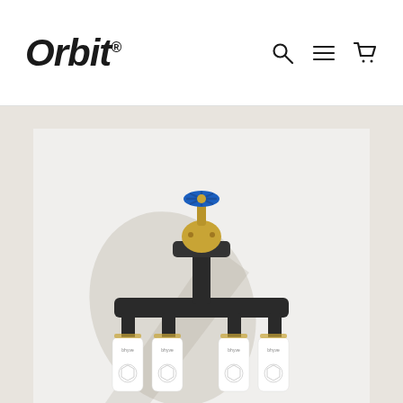Orbit® — navigation header with search, menu, and cart icons
[Figure (photo): Product photo of Orbit irrigation manifold system: a brass valve with blue handwheel on top, connected to black pipe fittings branching into four Bhyve smart valve controllers (white cylindrical units with hexagon pattern) against a light grey/white background with shadow. The image is displayed on a warm beige page background.]